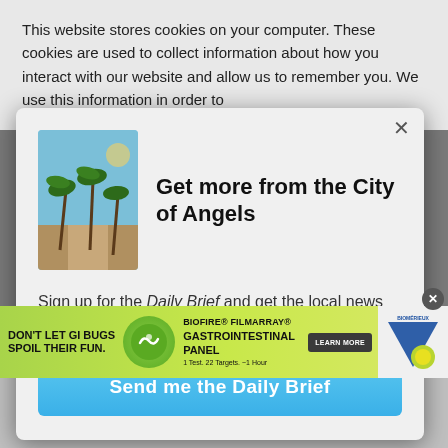This website stores cookies on your computer. These cookies are used to collect information about how you interact with our website and allow us to remember you. We use this information in order to
[Figure (screenshot): Modal popup with palm tree image, title 'Get more from the City of Angels', signup text and button]
Get more from the City of Angels
Sign up for the Daily Brief and get the local news you care about delivered right to your inbox.
Send me the Daily Brief
[Figure (infographic): Advertisement banner for BioFire FilmArray Gastrointestinal Panel by bioMérieux. Text: DON'T LET GI BUGS SPOIL THEIR FUN. BIOFIRE® FILMARRAY® GASTROINTESTINAL PANEL. 1 Test. 22 Targets. ~1 Hour. LEARN MORE.]